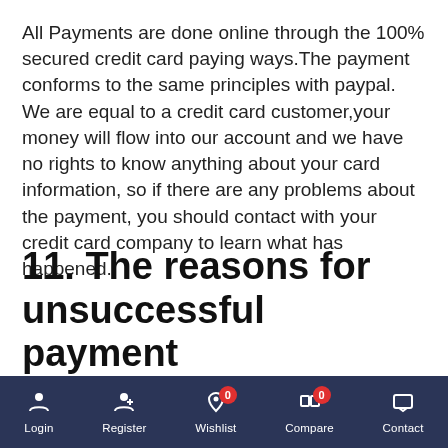All Payments are done online through the 100% secured credit card paying ways.The payment conforms to the same principles with paypal. We are equal to a credit card customer,your money will flow into our account and we have no rights to know anything about your card information, so if there are any problems about the payment, you should contact with your credit card company to learn what has happened.
11. The reasons for unsuccessful payment
Login | Register | Wishlist 0 | Compare 0 | Contact